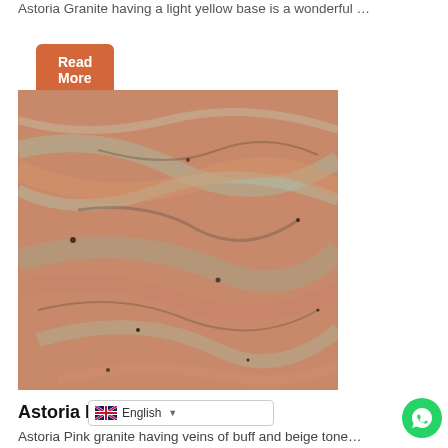Astoria Granite having a light yellow base is a wonderful ...
Read More
[Figure (photo): Close-up photo of Astoria Pink Granite showing swirling pink, salmon, and grey veined patterns with dark mineral specks.]
Astoria Pink Granite
Astoria Pink granite having veins of buff and beige tones ...
[Figure (other): Language selector showing English with UK flag, and WhatsApp contact button (green circle with phone icon).]